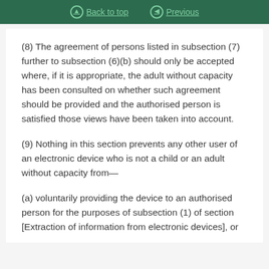Back to top  Previous
(8) The agreement of persons listed in subsection (7) further to subsection (6)(b) should only be accepted where, if it is appropriate, the adult without capacity has been consulted on whether such agreement should be provided and the authorised person is satisfied those views have been taken into account.
(9) Nothing in this section prevents any other user of an electronic device who is not a child or an adult without capacity from—
(a) voluntarily providing the device to an authorised person for the purposes of subsection (1) of section [Extraction of information from electronic devices], or